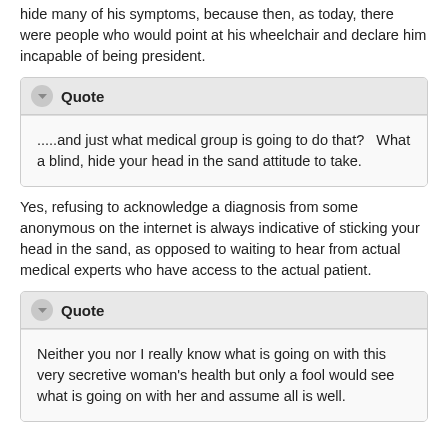hide many of his symptoms, because then, as today, there were people who would point at his wheelchair and declare him incapable of being president.
.....and just what medical group is going to do that?   What a blind, hide your head in the sand attitude to take.
Yes, refusing to acknowledge a diagnosis from some anonymous on the internet is always indicative of sticking your head in the sand, as opposed to waiting to hear from actual medical experts who have access to the actual patient.
Neither you nor I really know what is going on with this very secretive woman's health but only a fool would see what is going on with her and assume all is well.